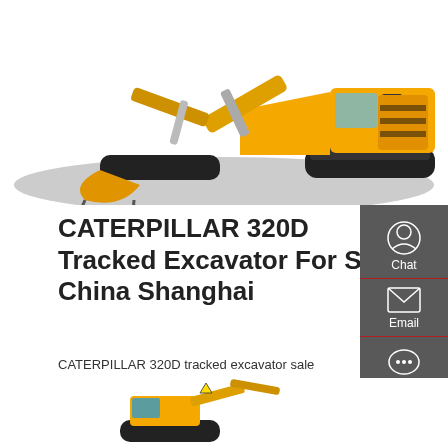[Figure (photo): Yellow Caterpillar 320D tracked excavator working on a gravel/dirt surface, white background]
CATERPILLAR 320D Tracked Excavator For Sale China Shanghai
CATERPILLAR 320D tracked excavator sale advertisement from China. Tracked digger. Crawler excavator. Price: $35,290. Year of manufacture: 2018. Running hours: 2400 h
[Figure (illustration): Small yellow tracked mini excavator partially visible at bottom of page]